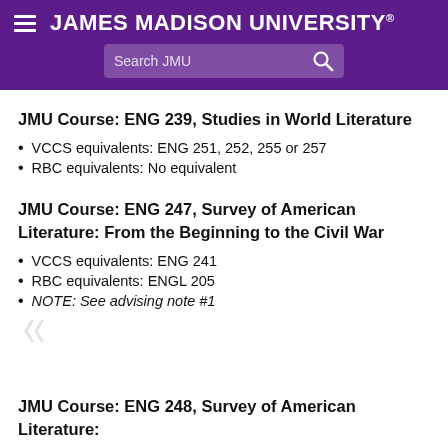JAMES MADISON UNIVERSITY.
JMU Course: ENG 239, Studies in World Literature
VCCS equivalents: ENG 251, 252, 255 or 257
RBC equivalents: No equivalent
JMU Course: ENG 247, Survey of American Literature: From the Beginning to the Civil War
VCCS equivalents: ENG 241
RBC equivalents: ENGL 205
NOTE: See advising note #1
JMU Course: ENG 248, Survey of American Literature: